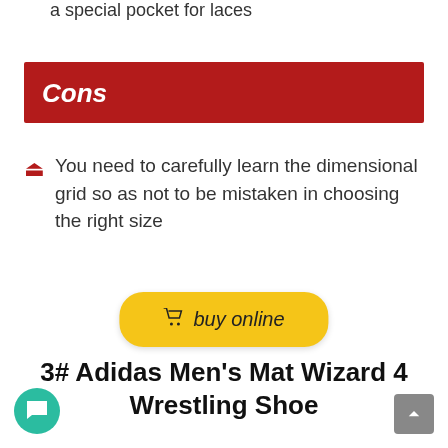a special pocket for laces
Cons
You need to carefully learn the dimensional grid so as not to be mistaken in choosing the right size
buy online
3# Adidas Men's Mat Wizard 4 Wrestling Shoe